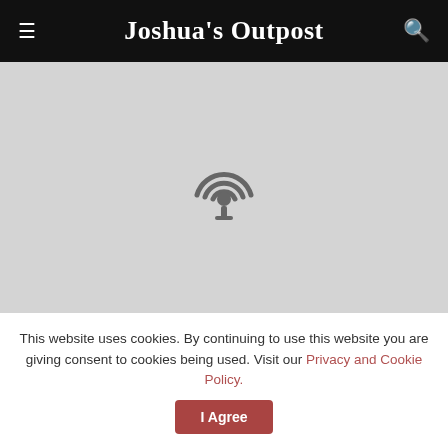Joshua's Outpost
[Figure (illustration): Podcast icon (microphone with signal waves) centered on a light gray rectangular background]
This website uses cookies. By continuing to use this website you are giving consent to cookies being used. Visit our Privacy and Cookie Policy.